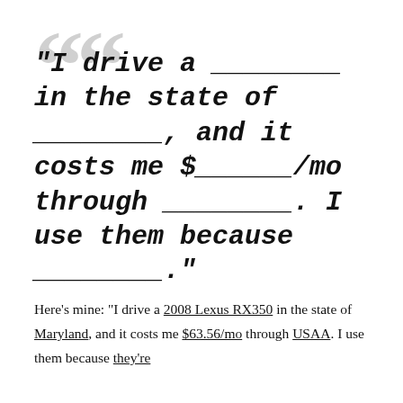“I drive a ________ in the state of ________, and it costs me $______/mo through ________. I use them because ________.”
Here’s mine: “I drive a 2008 Lexus RX350 in the state of Maryland, and it costs me $63.56/mo through USAA. I use them because they’re